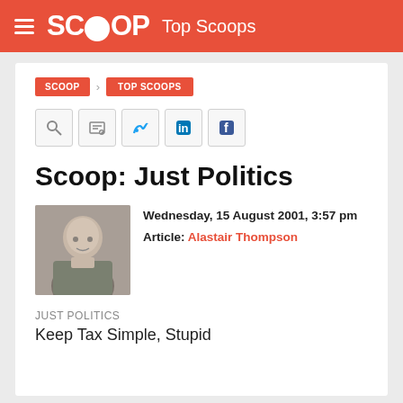SCOOP Top Scoops
SCOOP > TOP SCOOPS
Scoop: Just Politics
Wednesday, 15 August 2001, 3:57 pm
Article: Alastair Thompson
JUST POLITICS
Keep Tax Simple, Stupid